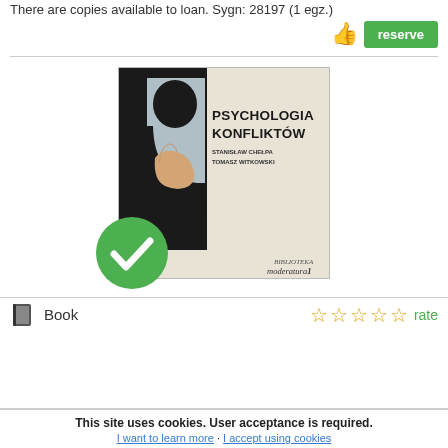There are copies available to loan. Sygn: 28197 (1 egz.)
[Figure (illustration): Book cover of 'Psychologia Konfliktów' by Stanisław Chełpa and Tomasz Witkowski, with a green checkmark overlay indicating availability]
Book
rate
This site uses cookies. User acceptance is required.
I want to learn more · I accept using cookies